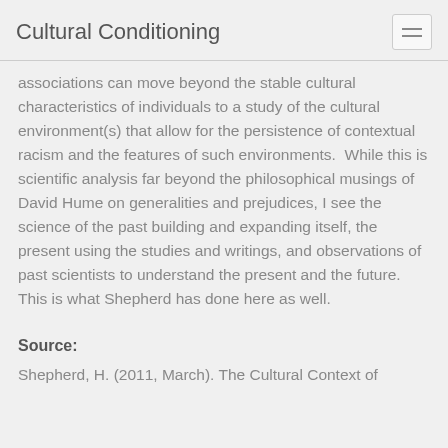Cultural Conditioning
associations can move beyond the stable cultural characteristics of individuals to a study of the cultural environment(s) that allow for the persistence of contextual racism and the features of such environments.  While this is scientific analysis far beyond the philosophical musings of David Hume on generalities and prejudices, I see the science of the past building and expanding itself, the present using the studies and writings, and observations of past scientists to understand the present and the future.  This is what Shepherd has done here as well.
Source:
Shepherd, H. (2011, March). The Cultural Context of